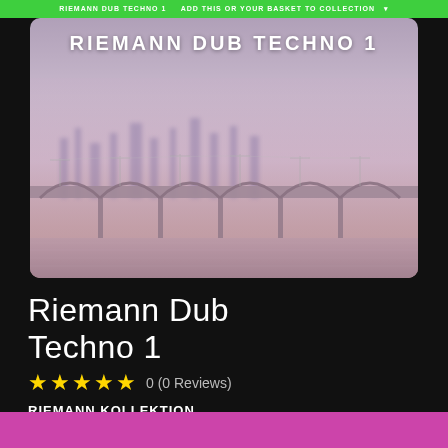RIEMANN DUB TECHNO 1
[Figure (illustration): Album cover art for Riemann Dub Techno 1 showing a foggy bridge over water in muted purple-pink tones with the title RIEMANN DUB TECHNO 1 overlaid in white text]
Riemann Dub Techno 1
★★★★★ 0 (0 Reviews)
RIEMANN KOLLEKTION
£25.99